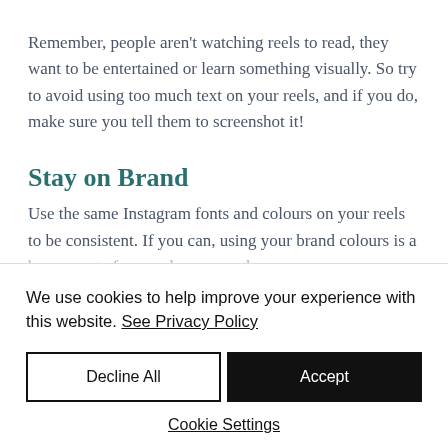Remember, people aren't watching reels to read, they want to be entertained or learn something visually. So try to avoid using too much text on your reels, and if you do, make sure you tell them to screenshot it!
Stay on Brand
Use the same Instagram fonts and colours on your reels to be consistent. If you can, using your brand colours is a [text cut off]
We use cookies to help improve your experience with this website. See Privacy Policy
Decline All
Accept
Cookie Settings